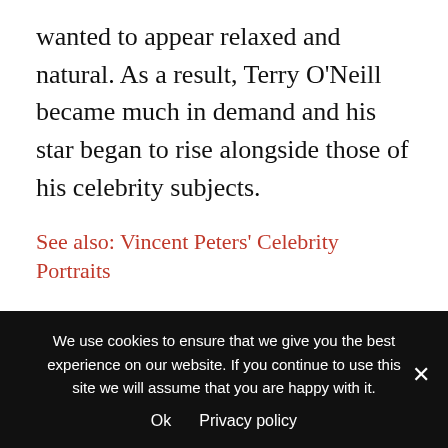wanted to appear relaxed and natural. As a result, Terry O’Neill became much in demand and his star began to rise alongside those of his celebrity subjects.
See also: Vincent Peters’ Celebrity Portraits
On the back of this early success, Terry O’Neill made the bold move of going freelance. He was a huge success and his work began appearing in Look, Life, Vogue, Paris Match, Rolling Stone and
We use cookies to ensure that we give you the best experience on our website. If you continue to use this site we will assume that you are happy with it.

Ok   Privacy policy